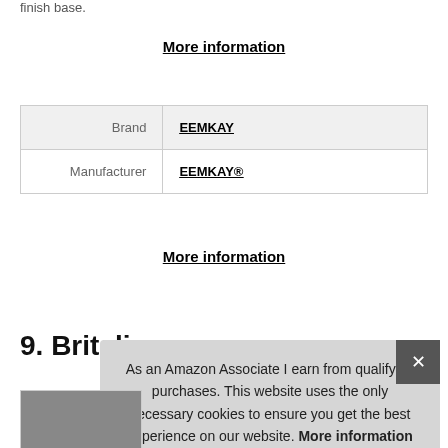finish base.
More information
|  |  |
| --- | --- |
| Brand | EEMKAY |
| Manufacturer | EEMKAY® |
More information
9. Britalia
As an Amazon Associate I earn from qualifying purchases. This website uses the only necessary cookies to ensure you get the best experience on our website. More information